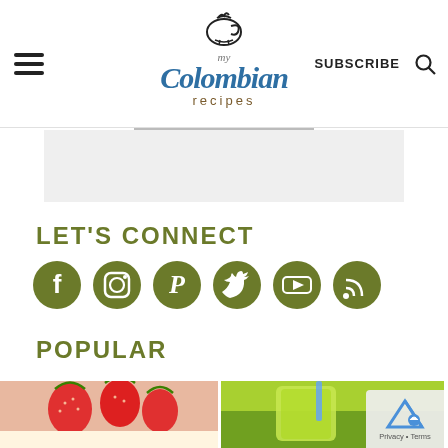my Colombian recipes — SUBSCRIBE
[Figure (other): Gray advertisement banner area below the site header]
LET'S CONNECT
[Figure (infographic): Row of 6 olive-green social media icon circles: Facebook, Instagram, Pinterest, Twitter, YouTube, RSS]
POPULAR
[Figure (photo): Two food photos side by side: left shows strawberries with chocolate sauce, right shows a green drink/smoothie]
[Figure (other): reCAPTCHA badge overlay in bottom-right corner]